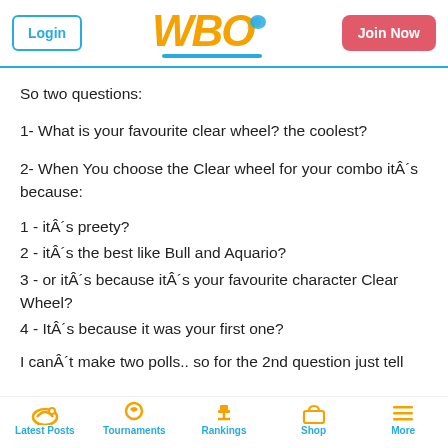Login | WBO | Join Now
So two questions:
1- What is your favourite clear wheel? the coolest?
2- When You choose the Clear wheel for your combo itÂ´s because:
1 - itÂ´s preety?
2 - itÂ´s the best like Bull and Aquario?
3 - or itÂ´s because itÂ´s your favourite character Clear Wheel?
4 - ItÂ´s because it was your first one?
I canÂ´t make two polls.. so for the 2nd question just tell
Latest Posts | Tournaments | Rankings | Shop | More